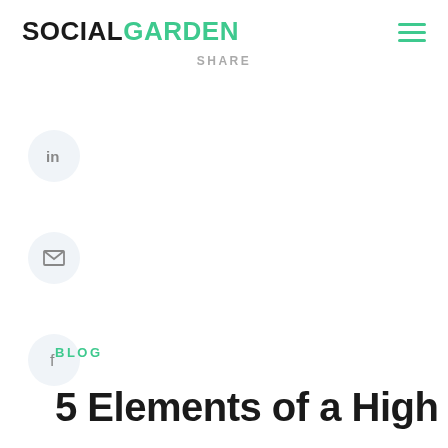SOCIALGARDEN
SHARE
[Figure (illustration): LinkedIn share button circle icon]
[Figure (illustration): Email share button circle icon]
[Figure (illustration): Facebook share button circle icon]
BLOG
5 Elements of a High